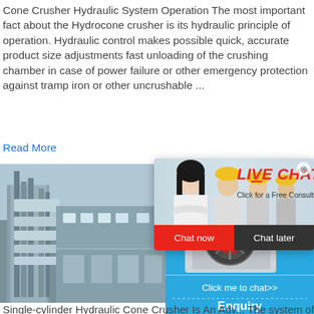Cone Crusher Hydraulic System Operation The most important fact about the Hydrocone crusher is its hydraulic principle of operation. Hydraulic control makes possible quick, accurate product size adjustments fast unloading of the crushing chamber in case of power failure or other emergency protection against tramp iron or other uncrushable ...
Read More
[Figure (photo): Industrial equipment photo showing machinery on the left side of page]
[Figure (screenshot): Live chat overlay popup with workers in hard hats, LIVE CHAT heading in red italic text, 'Click for a Free Consultation' subtitle, and Chat now / Chat later buttons]
[Figure (photo): Right blue panel showing crusher machine image and hour online text, with Click me to chat>>, Enquiry, and limingjlmofen buttons]
Single-cylinder Hydraulic Cone Crusher Is An Adv... The system of the single-cylinder hydraulic ... integrated with hydraulic, adjustment and p... Adjustment of the discharge port During op... hydraulic oil pump is used to fill or drain the... so that the spindle moves up or down, and the... the rolling wall and the crushing wall is ...